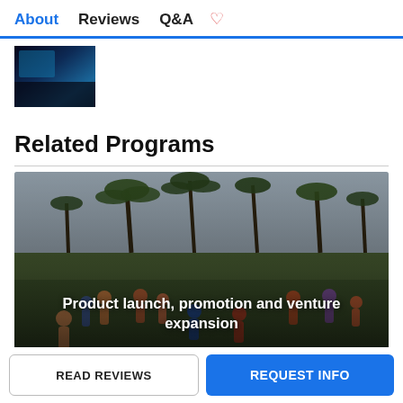About  Reviews  Q&A
[Figure (photo): Partial thumbnail image of a person, mostly dark blue tones]
Related Programs
[Figure (photo): Outdoor scene with children playing in a tropical field with palm trees. Text overlay reads: Product launch, promotion and venture expansion]
Product launch, promotion and venture expansion
READ REVIEWS
REQUEST INFO